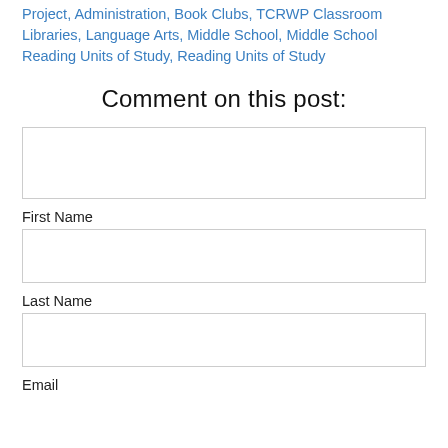Project, Administration, Book Clubs, TCRWP Classroom Libraries, Language Arts, Middle School, Middle School Reading Units of Study, Reading Units of Study
Comment on this post:
First Name
Last Name
Email